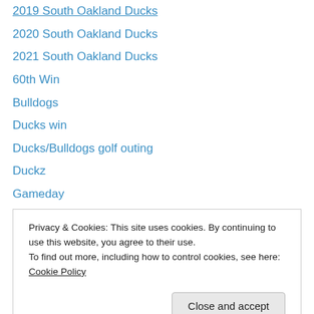2019 South Oakland Ducks
2020 South Oakland Ducks
2021 South Oakland Ducks
60th Win
Bulldogs
Ducks win
Ducks/Bulldogs golf outing
Duckz
Gameday
League Champion South Oakland Ducks
NABA
pittsburgh NABA
Recap
Privacy & Cookies: This site uses cookies. By continuing to use this website, you agree to their use. To find out more, including how to control cookies, see here: Cookie Policy
August 2022